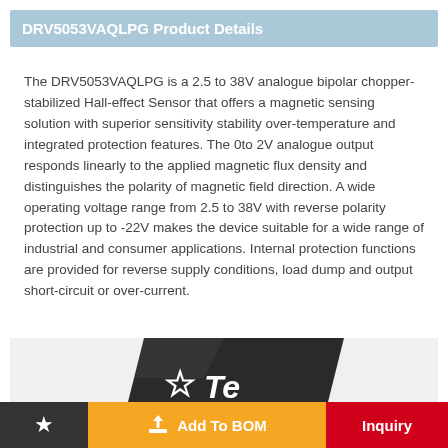DRV5053VAQLPG Product Details
The DRV5053VAQLPG is a 2.5 to 38V analogue bipolar chopper-stabilized Hall-effect Sensor that offers a magnetic sensing solution with superior sensitivity stability over-temperature and integrated protection features. The 0to 2V analogue output responds linearly to the applied magnetic flux density and distinguishes the polarity of magnetic field direction. A wide operating voltage range from 2.5 to 38V with reverse polarity protection up to -22V makes the device suitable for a wide range of industrial and consumer applications. Internal protection functions are provided for reverse supply conditions, load dump and output short-circuit or over-current.
[Figure (photo): Photo of a DRV5053VAQLPG Hall-effect sensor chip on dark background with Texas Instruments logo visible]
★   Add To BOM   Inquiry